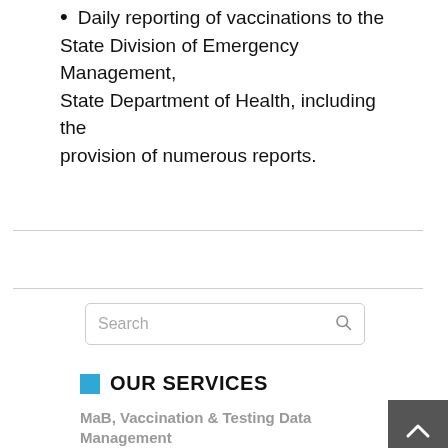Daily reporting of vaccinations to the State Division of Emergency Management, State Department of Health, including the provision of numerous reports.
[Figure (other): Search box with search icon]
OUR SERVICES
MaB, Vaccination & Testing Data Management
Community MaB, Vaccination & Test Sites
Logistics and Supply Chain Management